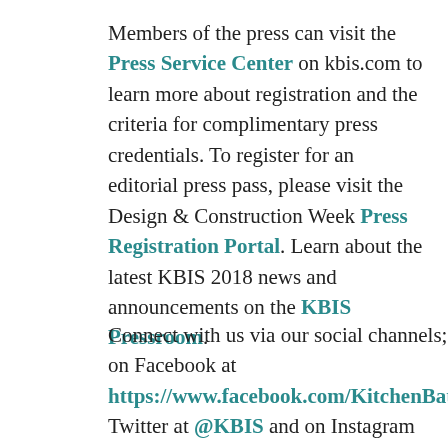Members of the press can visit the Press Service Center on kbis.com to learn more about registration and the criteria for complimentary press credentials. To register for an editorial press pass, please visit the Design & Construction Week Press Registration Portal. Learn about the latest KBIS 2018 news and announcements on the KBIS Pressroom.
Connect with us via our social channels; on Facebook at https://www.facebook.com/KitchenBathIndu Twitter at @KBIS and on Instagram @KBIS_official